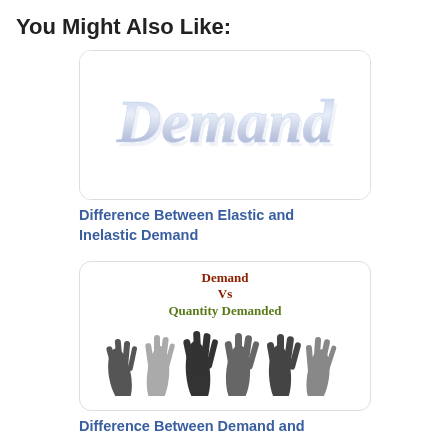You Might Also Like:
[Figure (illustration): Rounded card with stylized cursive 'Demand' text in light blue/silver gradient]
Difference Between Elastic and Inelastic Demand
[Figure (illustration): Rounded card showing 'Demand Vs Quantity Demanded' text with silhouetted raised hands in various skin tones]
Difference Between Demand and